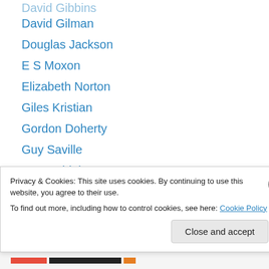David Gibbins
David Gilman
Douglas Jackson
E S Moxon
Elizabeth Norton
Giles Kristian
Gordon Doherty
Guy Saville
Harry Sidebottom
I.D Roberts
Ian Ross
James Benmore
James Heneage
James Jackson
Privacy & Cookies: This site uses cookies. By continuing to use this website, you agree to their use. To find out more, including how to control cookies, see here: Cookie Policy
Close and accept